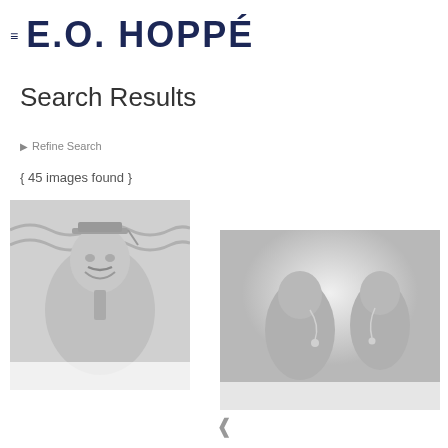≡ E.O. HOPPÉ
Search Results
▶ Refine Search
{ 45 images found }
[Figure (photo): Grayscale photograph of a man in academic regalia smiling, with decorative background]
[Figure (photo): Grayscale photograph showing figures with jewelry or decorative elements, bright light in background]